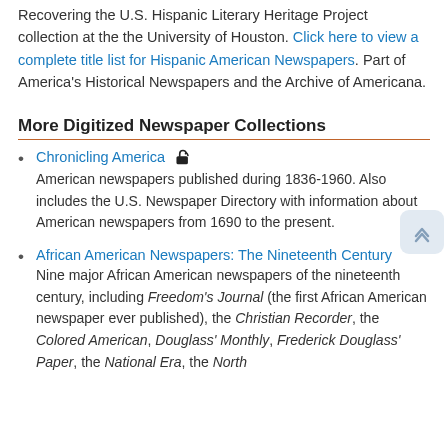Recovering the U.S. Hispanic Literary Heritage Project collection at the the University of Houston. Click here to view a complete title list for Hispanic American Newspapers. Part of America's Historical Newspapers and the Archive of Americana.
More Digitized Newspaper Collections
Chronicling America
American newspapers published during 1836-1960. Also includes the U.S. Newspaper Directory with information about American newspapers from 1690 to the present.
African American Newspapers: The Nineteenth Century
Nine major African American newspapers of the nineteenth century, including Freedom's Journal (the first African American newspaper ever published), the Christian Recorder, the Colored American, Douglass' Monthly, Frederick Douglass' Paper, the National Era, the North